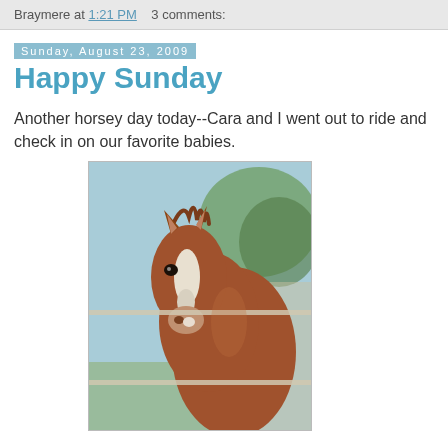Braymere at 1:21 PM   3 comments:
Sunday, August 23, 2009
Happy Sunday
Another horsey day today--Cara and I went out to ride and check in on our favorite babies.
[Figure (photo): Close-up photo of a young chestnut foal with a white blaze on its face, facing the camera. The foal is behind a fence rail. Background shows blurred green trees and blue sky.]